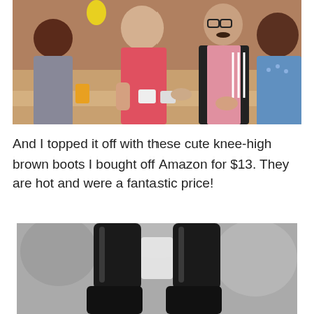[Figure (photo): Four people standing and talking in what appears to be a cafeteria or school common area. A woman in a pink sleeveless top with curly hair, a woman with dark hair on the left, a tall man with glasses wearing a pink shirt under a black Adidas jacket, and a woman in a blue shirt on the right. There are mugs and drinks on a counter in front of them.]
And I topped it off with these cute knee-high brown boots I bought off Amazon for $13. They are hot and were a fantastic price!
[Figure (photo): Black and white close-up photo of someone wearing knee-high black boots, with blurred outdoor background.]